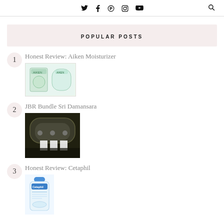Twitter Facebook Pinterest Instagram YouTube | Search
POPULAR POSTS
1 Honest Review: Aiken Moisturizer
2 JBR Bundle Sri Damansara
3 Honest Review: Cetaphil